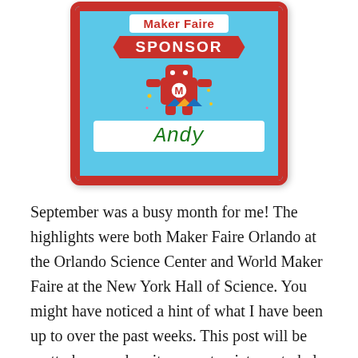[Figure (photo): A hand holding a Maker Faire SPONSOR badge with a robot graphic and the name 'Andy' written in green marker on a white name field. The badge has a red border, blue background, and colorful decorative elements.]
September was a busy month for me! The highlights were both Maker Faire Orlando at the Orlando Science Center and World Maker Faire at the New York Hall of Science. You might have noticed a hint of what I have been up to over the past weeks. This post will be pretty heavy when it comes to pictures to help share the AWESOME that is the maker movement.